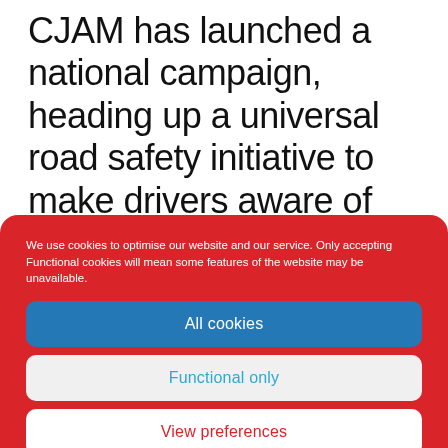CJAM has launched a national campaign, heading up a universal road safety initiative to make drivers aware of important precautions and checks required before resuming driving after the COVID-19
We use cookies to optimise our website and our service. Only accepting Functional cookies will mean some features of the website may be unavailable.
All cookies
Functional only
View preferences
Cookie policy